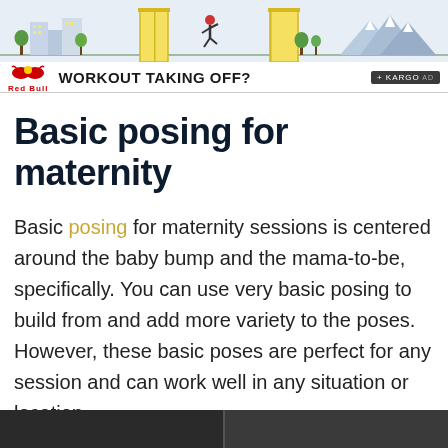[Figure (illustration): Red Bull advertisement banner with illustrated runner jumping through a door, cityscape and mountains in background. Red Bull logo and text 'WORKOUT TAKING OFF?' with KARGO AD badge.]
Basic posing for maternity
Basic posing for maternity sessions is centered around the baby bump and the mama-to-be, specifically. You can use very basic posing to build from and add more variety to the poses. However, these basic poses are perfect for any session and can work well in any situation or location.
[Figure (photo): Bottom strip showing partial view of maternity photography images, dark toned.]